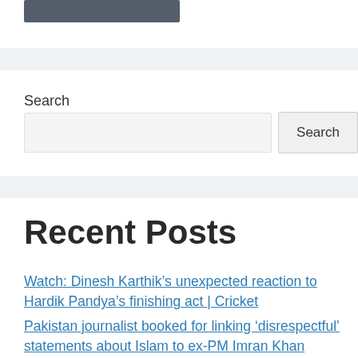[Figure (other): Dark gray logo/header block placeholder]
Search
Search input field and Search button
Recent Posts
Watch: Dinesh Karthik’s unexpected reaction to Hardik Pandya’s finishing act | Cricket
Pakistan journalist booked for linking ‘disrespectful’ statements about Islam to ex-PM Imran Khan